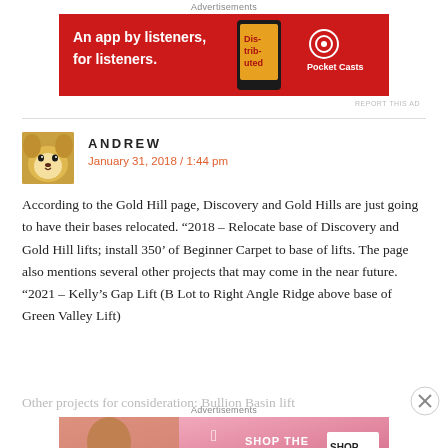[Figure (screenshot): Pocket Casts advertisement banner — red background, text 'An app by listeners, for listeners.' with phone graphic and Pocket Casts logo]
ANDREW
January 31, 2018 / 1:44 pm
According to the Gold Hill page, Discovery and Gold Hills are just going to have their bases relocated. “2018 – Relocate base of Discovery and Gold Hill lifts; install 350’ of Beginner Carpet to base of lifts. The page also mentions several other projects that may come in the near future. “2021 – Kelly’s Gap Lift (B Lot to Right Angle Ridge above base of Green Valley Lift)
Other projects for consideration: Bullion Basin lift
[Figure (screenshot): Victoria's Secret advertisement banner — pink gradient background with model photo, 'SHOP THE COLLECTION' text and 'SHOP NOW' button]